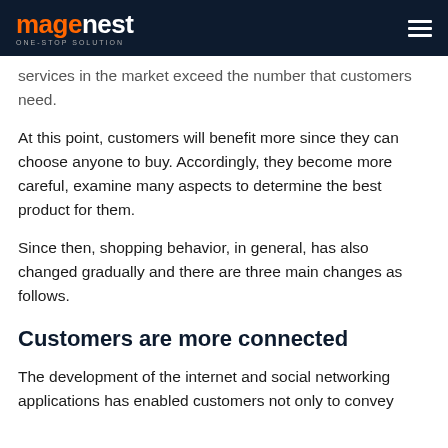magenest ONE-STOP SOLUTION
services in the market exceed the number that customers need.
At this point, customers will benefit more since they can choose anyone to buy. Accordingly, they become more careful, examine many aspects to determine the best product for them.
Since then, shopping behavior, in general, has also changed gradually and there are three main changes as follows.
Customers are more connected
The development of the internet and social networking applications has enabled customers not only to convey